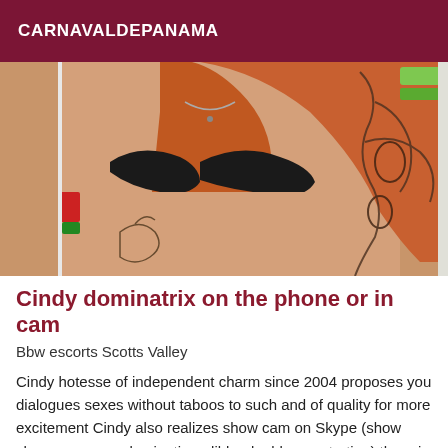CARNAVALDEPANAMA
[Figure (photo): Woman with red hair wearing a black bra, with visible tattoos on her arm and lower body, photographed from the chest down]
Cindy dominatrix on the phone or in cam
Bbw escorts Scotts Valley
Cindy hotesse of independent charm since 2004 proposes you dialogues sexes without taboos to such and of quality for more excitement Cindy also realizes show cam on Skype (show shower, caress, domination, dildo, double penetration) there is for all the tastes join